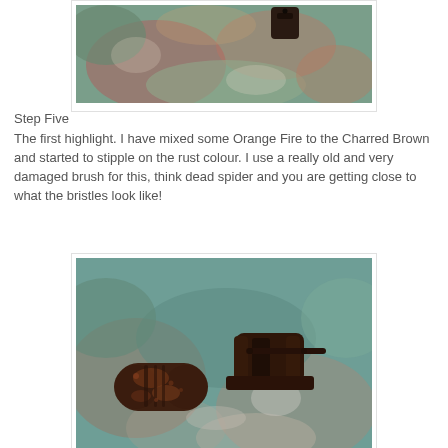[Figure (photo): Close-up photograph of small dark brown metal miniature pieces (rollers/hinges) on a mottled green, red, and pink painted surface, viewed from above.]
Step Five
The first highlight. I have mixed some Orange Fire to the Charred Brown and started to stipple on the rust colour. I use a really old and very damaged brush for this, think dead spider and you are getting close to what the bristles look like!
[Figure (photo): Photograph of two small dark brown metal miniature roller/cylinder pieces placed on a mottled teal, pink, and silver painted surface. The pieces show subtle rust-orange stippled texture.]